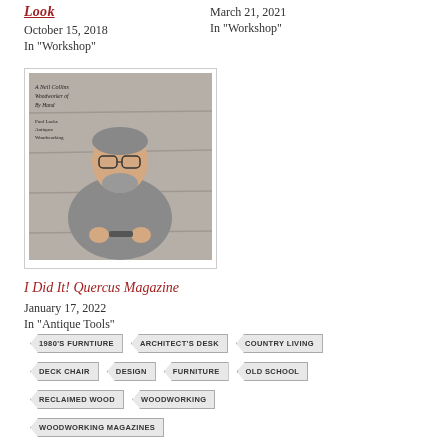Look
October 15, 2018
In "Workshop"
March 21, 2021
In "Workshop"
[Figure (photo): A man with glasses and beard working with tools, illustrated/painted style, for Quercus Magazine article]
I Did It! Quercus Magazine
January 17, 2022
In "Antique Tools"
1980'S FURNTIURE
ARCHITECT'S DESK
COUNTRY LIVING
DECK CHAIR
DESIGN
FURNITURE
OLD SCHOOL
RECLAIMED WOOD
WOODWORKING
WOODWORKING MAGAZINES